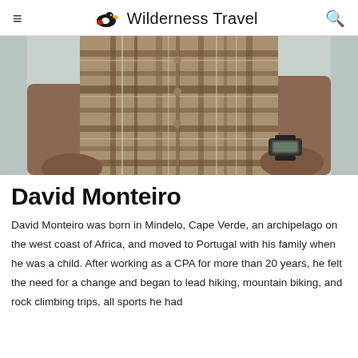≡  Wilderness Travel  🔍
[Figure (photo): Cropped photo of a person wearing a plaid/flannel shirt with hands in pockets, light blue background visible]
David Monteiro
David Monteiro was born in Mindelo, Cape Verde, an archipelago on the west coast of Africa, and moved to Portugal with his family when he was a child. After working as a CPA for more than 20 years, he felt the need for a change and began to lead hiking, mountain biking, and rock climbing trips, all sports he had